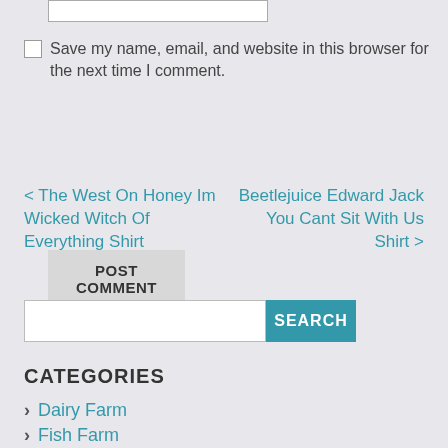[Figure (other): Text input box (form field, empty)]
Save my name, email, and website in this browser for the next time I comment.
POST COMMENT
< The West On Honey Im Wicked Witch Of Everything Shirt
Beetlejuice Edward Jack You Cant Sit With Us Shirt >
[Figure (other): Search bar with text input and SEARCH button]
CATEGORIES
Dairy Farm
Fish Farm
General Farm
Livestock Farm